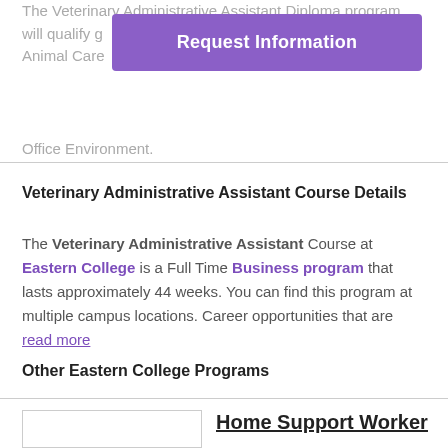The Veterinary Administrative Assistant Diploma program will qualify g... inary clinics. Animal Care ... ns in any Office Environment.
[Figure (other): Purple button labeled 'Request Information']
Veterinary Administrative Assistant Course Details
The Veterinary Administrative Assistant Course at Eastern College is a Full Time Business program that lasts approximately 44 weeks. You can find this program at multiple campus locations. Career opportunities that are read more
Other Eastern College Programs
[Figure (other): Empty card box thumbnail]
Home Support Worker